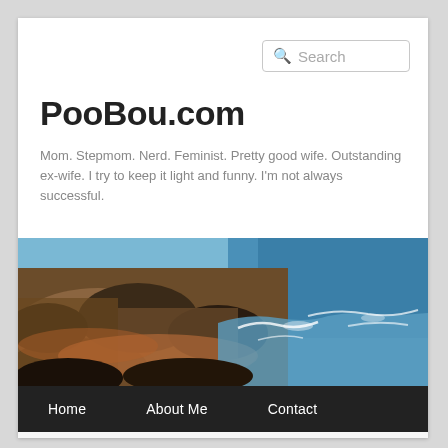Search
PooBou.com
Mom. Stepmom. Nerd. Feminist. Pretty good wife. Outstanding ex-wife. I try to keep it light and funny. I'm not always successful.
[Figure (photo): Coastal rocky shoreline with blue ocean waves]
Home   About Me   Contact
CATEGORY ARCHIVES: WRITING